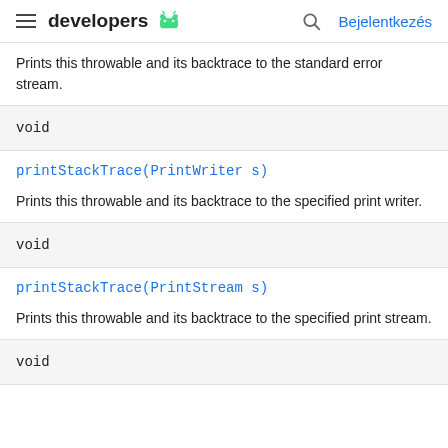developers (android logo) | Bejelentkezés
Prints this throwable and its backtrace to the standard error stream.
void
printStackTrace(PrintWriter s)
Prints this throwable and its backtrace to the specified print writer.
void
printStackTrace(PrintStream s)
Prints this throwable and its backtrace to the specified print stream.
void